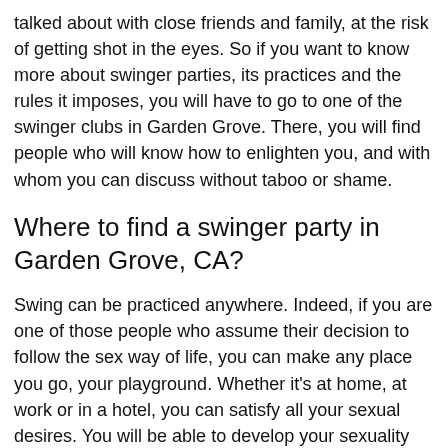talked about with close friends and family, at the risk of getting shot in the eyes. So if you want to know more about swinger parties, its practices and the rules it imposes, you will have to go to one of the swinger clubs in Garden Grove. There, you will find people who will know how to enlighten you, and with whom you can discuss without taboo or shame.
Where to find a swinger party in Garden Grove, CA?
Swing can be practiced anywhere. Indeed, if you are one of those people who assume their decision to follow the sex way of life, you can make any place you go, your playground. Whether it's at home, at work or in a hotel, you can satisfy all your sexual desires. You will be able to develop your sexuality and at the same time discover everything that the term erotic implies. For those who prefer places specially designed for the occasion, you will have the choice between swingers club, sauna, hammam, spa and hotel.
All these places are perfectly equipped and will offer you a